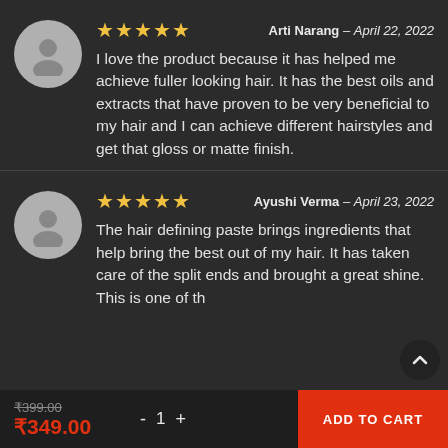★★★★★  Arti Narang – April 22, 2022
I love the product because it has helped me achieve fuller looking hair. It has the best oils and extracts that have proven to be very beneficial to my hair and I can achieve different hairstyles and get that gloss or matte finish.
★★★★★  Ayushi Verma – April 23, 2022
The hair defining paste brings ingredients that help bring the best out of my hair. It has taken care of the split ends and brought a great shine. This is one of th... best products...
₹399.00  ₹349.00  - 1 +  ADD TO CART